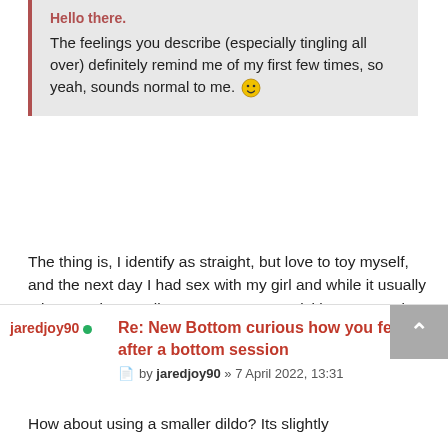The feelings you describe (especially tingling all over) definitely remind me of my first few times, so yeah, sounds normal to me. 🙂
The thing is, I identify as straight, but love to toy myself, and the next day I had sex with my girl and while it usually takes me time to climax, I came very quickly, anyone else experienced that?
jaredjoy90
Re: New Bottom curious how you feel after a bottom session
by jaredjoy90 » 7 April 2022, 13:31
How about using a smaller dildo? Its slightly